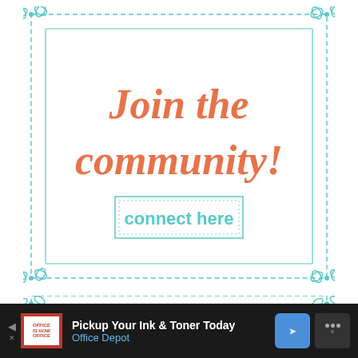[Figure (illustration): Decorative bordered card with teal dashed border and floral corner ornaments. Contains orange script text 'Join the community!' and a teal outlined button with text 'connect here'.]
[Figure (infographic): Advertisement banner: dark background with Office Depot logo, text 'Pickup Your Ink & Toner Today' and 'Office Depot', blue direction sign icon, and weather icon on right.]